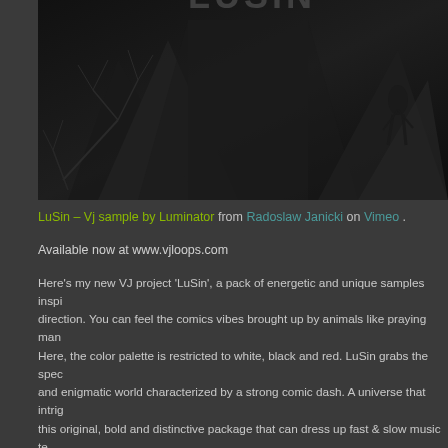[Figure (photo): Dark cinematic image with silhouettes against a very dark background, partial text at top, branches visible on left side]
LuSin – Vj sample by Luminator from Radoslaw Janicki on Vimeo.
Available now at www.vjloops.com
Here's my new VJ project 'LuSin', a pack of energetic and unique samples inspi... direction. You can feel the comics vibes brought up by animals like praying man... Here, the color palette is restricted to white, black and red. LuSin grabs the spec... and enigmatic world characterized by a strong comic dash. A universe that intrig... this original, bold and distinctive package that can dress up fast & slow music te... walking, dancing, flying around, matching the music you will choose. LuSin sam... energy amid the audience. Wanna emphasize your vj set? Let the mantis be the...
LuSin, to mój nowy VJ-ski projekt inspirowany klimatem SinCity. Paczka sk?ada... zuj?cych do komiksu sampli. G?ównymi bohaterami s? zwierz?ta: modliszka, ni... P?tle s? energetyczne i charakteryzuj? si? mocn? komiksow? kresk? oraz kolory... szarej, bieli i czarvi?ni. LuSin jest zagadkow i tajemniczy. Buduje napi?cie...